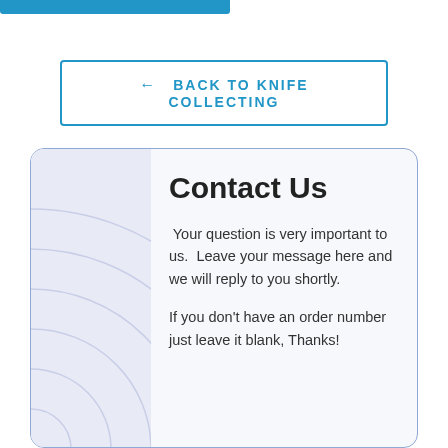[Figure (other): Blue top navigation bar partial element at top of page]
← BACK TO KNIFE COLLECTING
Contact Us
Your question is very important to us. Leave your message here and we will reply to you shortly.
If you don't have an order number just leave it blank, Thanks!